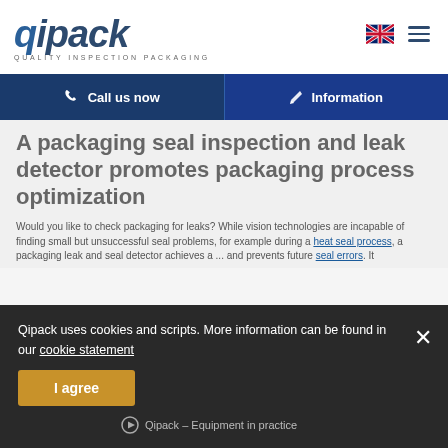[Figure (logo): Qipack logo with text 'QUALITY INSPECTION PACKAGING' and navigation icons (UK flag, hamburger menu)]
Call us now | Information
A packaging seal inspection and leak detector promotes packaging process optimization
Would you like to check packaging for leaks? While vision technologies are incapable of finding small but unsuccessful seal problems, for example during a heat seal process, a packaging leak and seal detector achieves a ... and prevents future seal errors. It
Qipack uses cookies and scripts. More information can be found in our cookie statement
I agree
Qipack – Equipment in practice